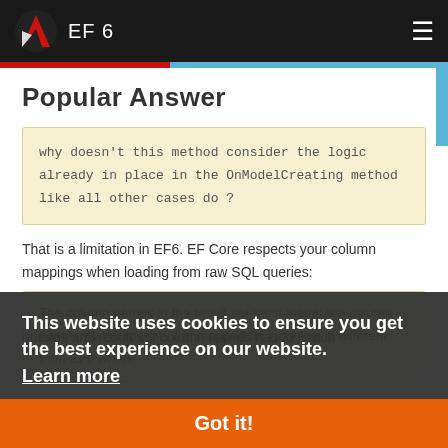EF 6
Popular Answer
why doesn't this method consider the logic already in place in the OnModelCreating method like all other cases do ?
That is a limitation in EF6. EF Core respects your column mappings when loading from raw SQL queries:
The column names in the result set must match the column names that properties are mapped to. Note this is different from EF6 where
queries and result set column names had to match
This website uses cookies to ensure you get the best experience on our website. Learn more
Got it!